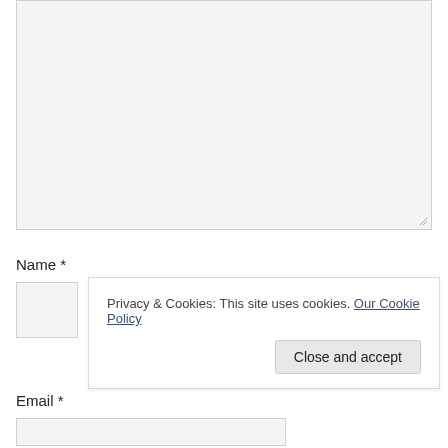[Figure (screenshot): A large empty textarea input box with light gray background and a resize handle in the bottom-right corner.]
Name *
[Figure (screenshot): A small gray input field for the Name field, partially obscured by the cookie banner.]
Privacy & Cookies: This site uses cookies. Our Cookie Policy
Close and accept
Email *
[Figure (screenshot): An empty text input field for the Email field.]